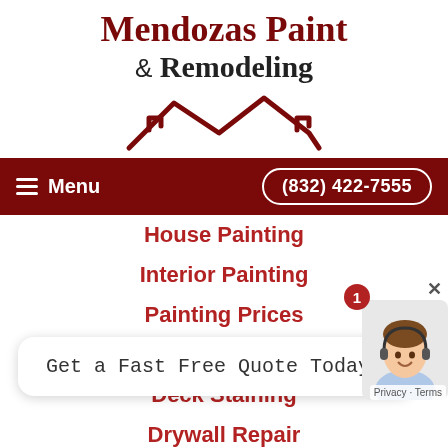Mendozas Paint & Remodeling
[Figure (logo): Stylized dark red house/roof outline logo icon]
Menu   (832) 422-7555
House Painting
Interior Painting
Painting Prices
Cabinet Refinishing
Deck Staining
Drywall Repair
Pressure Washing
Get a Fast Free Quote Today!
Wallpaper Removal